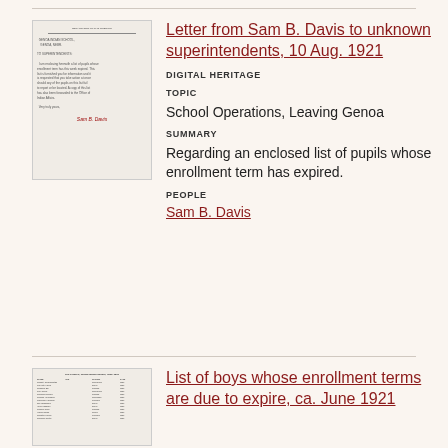[Figure (photo): Thumbnail of a typed letter from Sam B. Davis on Department of the Interior letterhead, addressed to superintendents, discussing an enclosed list of pupils whose enrollment term has expired, signed by Sam B. Davis.]
Letter from Sam B. Davis to unknown superintendents, 10 Aug. 1921
DIGITAL HERITAGE
TOPIC
School Operations, Leaving Genoa
SUMMARY
Regarding an enclosed list of pupils whose enrollment term has expired.
PEOPLE
Sam B. Davis
[Figure (photo): Thumbnail of a list document showing boys' names, ages, tribal affiliations, and dates for those whose enrollment terms are due to expire, ca. June 1921 from Genoa Indian School.]
List of boys whose enrollment terms are due to expire, ca. June 1921